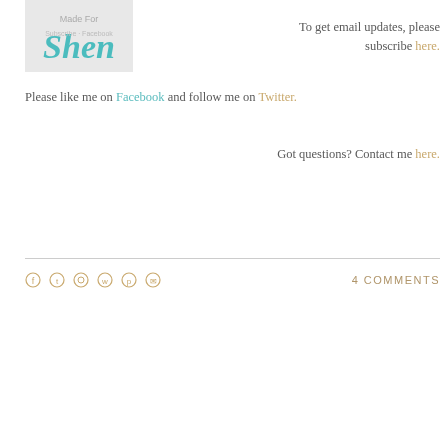[Figure (logo): Blog logo with cursive teal 'Shen' text on a light gray background with watermark text]
To get email updates, please subscribe here.
Please like me on Facebook and follow me on Twitter.
Got questions? Contact me here.
4 COMMENTS